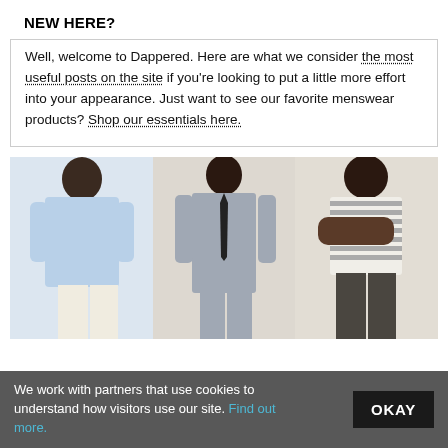NEW HERE?
Well, welcome to Dappered. Here are what we consider the most useful posts on the site if you're looking to put a little more effort into your appearance. Just want to see our favorite menswear products? Shop our essentials here.
[Figure (photo): Three men modeling menswear: left man in light blue oxford shirt with cream trousers, center man in grey suit with black tie, right man in white striped t-shirt with dark charcoal pants, arms crossed. Neutral/cream background.]
We work with partners that use cookies to understand how visitors use our site. Find out more.